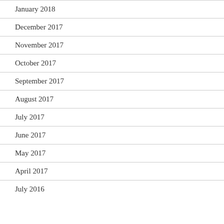January 2018
December 2017
November 2017
October 2017
September 2017
August 2017
July 2017
June 2017
May 2017
April 2017
July 2016